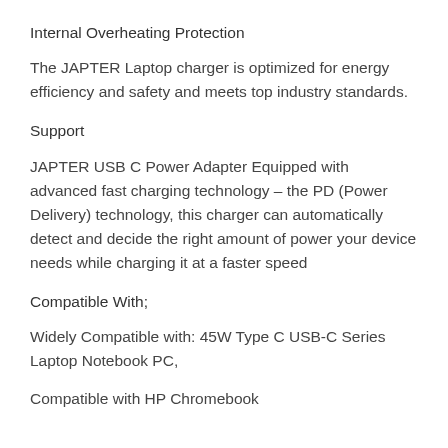Internal Overheating Protection
The JAPTER Laptop charger is optimized for energy efficiency and safety and meets top industry standards.
Support
JAPTER USB C Power Adapter Equipped with advanced fast charging technology – the PD (Power Delivery) technology, this charger can automatically detect and decide the right amount of power your device needs while charging it at a faster speed
Compatible With;
Widely Compatible with: 45W Type C USB-C Series Laptop Notebook PC,
Compatible with HP Chromebook